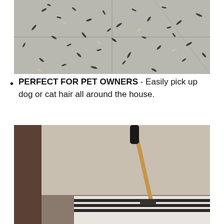[Figure (photo): Photo of a gray tile floor scattered with many small dark seeds or debris items]
PERFECT FOR PET OWNERS - Easily pick up dog or cat hair all around the house.
[Figure (photo): Photo of a broom or mop with a gold/copper handle and dark grip leaning against a baseboard heater in a home]